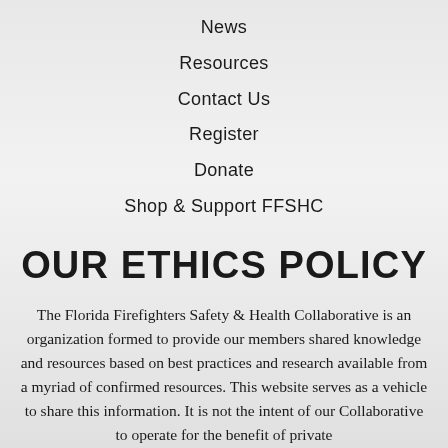News
Resources
Contact Us
Register
Donate
Shop & Support FFSHC
OUR ETHICS POLICY
The Florida Firefighters Safety & Health Collaborative is an organization formed to provide our members shared knowledge and resources based on best practices and research available from a myriad of confirmed resources. This website serves as a vehicle to share this information. It is not the intent of our Collaborative to operate for the benefit of private